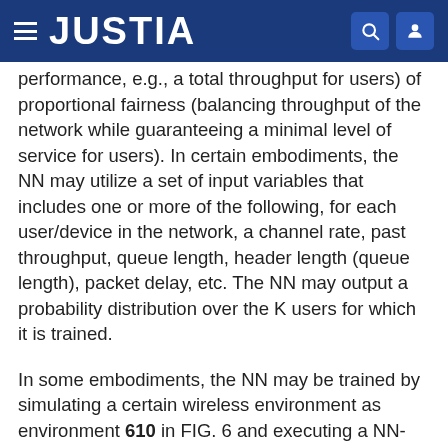JUSTIA
performance, e.g., a total throughput for users) of proportional fairness (balancing throughput of the network while guaranteeing a minimal level of service for users). In certain embodiments, the NN may utilize a set of input variables that includes one or more of the following, for each user/device in the network, a channel rate, past throughput, queue length, header length (queue length), packet delay, etc. The NN may output a probability distribution over the K users for which it is trained.
In some embodiments, the NN may be trained by simulating a certain wireless environment as environment 610 in FIG. 6 and executing a NN-based policy as 606 to schedule resources (as actions 608) in the simulated environment 610. The goodputs (a measure of good/useful bits delivered) may be obtained from the...